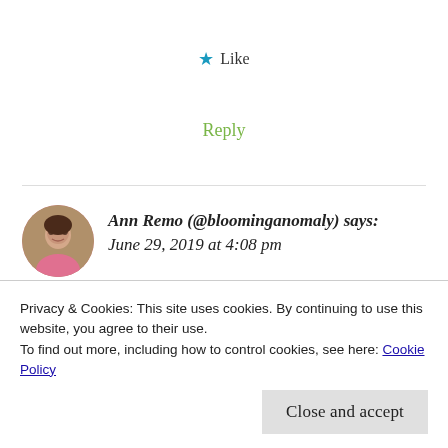★ Like
Reply
Ann Remo (@bloominganomaly) says:
June 29, 2019 at 4:08 pm
Magic shows are fun! Hubby and I went to one of Chriss Angel's shows on our honeymoon in Vegas a few years ago. This one sounds like it was a lot
Privacy & Cookies: This site uses cookies. By continuing to use this website, you agree to their use.
To find out more, including how to control cookies, see here: Cookie Policy
Close and accept